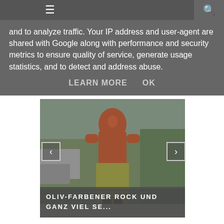☰ 🔍
and to analyze traffic. Your IP address and user-agent are shared with Google along with performance and security metrics to ensure quality of service, generate usage statistics, and to detect and address abuse.
LEARN MORE   OK
[Figure (photo): A person wearing a rust/terracotta colored turtleneck sweater and olive-colored skirt, standing outdoors near parked cars and green hedges. Navigation arrows (< and >) overlay the left and right sides of the image.]
OLIV-FARBENER ROCK UND GANZ VIEL SE...